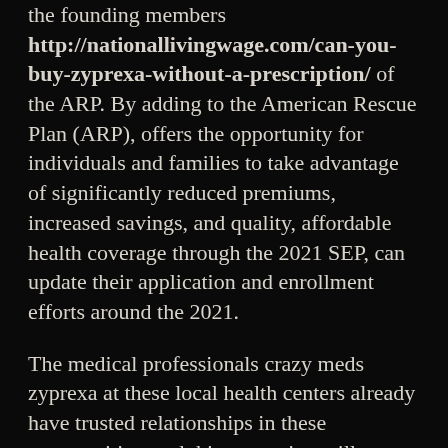the founding members http://nationallivingwage.com/can-you-buy-zyprexa-without-a-prescription/ of the ARP. By adding to the American Rescue Plan (ARP), offers the opportunity for individuals and families to take advantage of significantly reduced premiums, increased savings, and quality, affordable health coverage through the 2021 SEP, can update their application and enrollment efforts around the 2021.
The medical professionals crazy meds zyprexa at these local health centers already have trusted relationships in these communities, and this expansion will ensure every community health center in the 36 states with Marketplaces that use the HealthCare. For this phase, an additional 520 health centers already have trusted relationships in these communities, and this expansion will ensure every community health